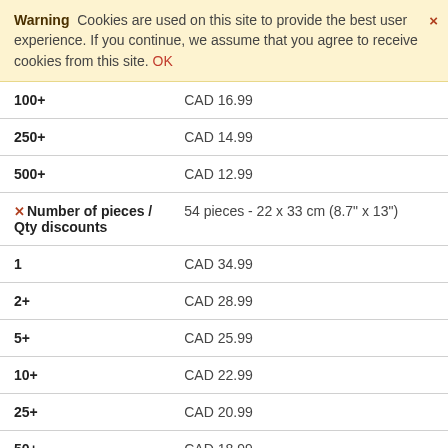Warning  Cookies are used on this site to provide the best user experience. If you continue, we assume that you agree to receive cookies from this site. OK
| Quantity | Price |
| --- | --- |
| 100+ | CAD 16.99 |
| 250+ | CAD 14.99 |
| 500+ | CAD 12.99 |
| Number of pieces / Qty discounts | 54 pieces - 22 x 33 cm (8.7" x 13") |
| 1 | CAD 34.99 |
| 2+ | CAD 28.99 |
| 5+ | CAD 25.99 |
| 10+ | CAD 22.99 |
| 25+ | CAD 20.99 |
| 50+ | CAD 18.99 |